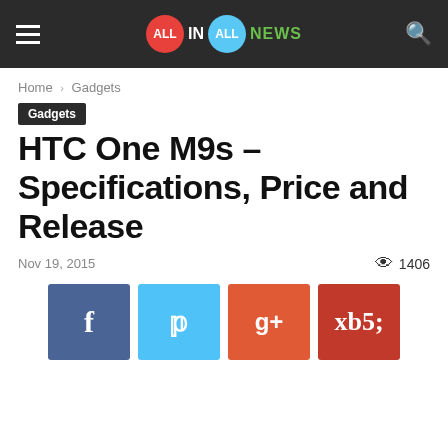ALL IN ALL NEWS
Home › Gadgets
Gadgets
HTC One M9s – Specifications, Price and Release
Nov 19, 2015   1406
[Figure (infographic): Social media share buttons: Facebook, Twitter, Google+, Pinterest]